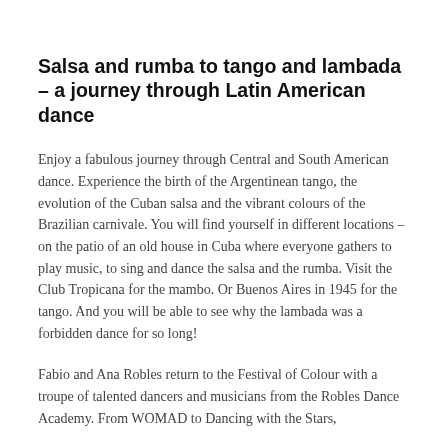Salsa and rumba to tango and lambada – a journey through Latin American dance
Enjoy a fabulous journey through Central and South American dance. Experience the birth of the Argentinean tango, the evolution of the Cuban salsa and the vibrant colours of the Brazilian carnivale. You will find yourself in different locations – on the patio of an old house in Cuba where everyone gathers to play music, to sing and dance the salsa and the rumba. Visit the Club Tropicana for the mambo. Or Buenos Aires in 1945 for the tango. And you will be able to see why the lambada was a forbidden dance for so long!
Fabio and Ana Robles return to the Festival of Colour with a troupe of talented dancers and musicians from the Robles Dance Academy. From WOMAD to Dancing with the Stars,